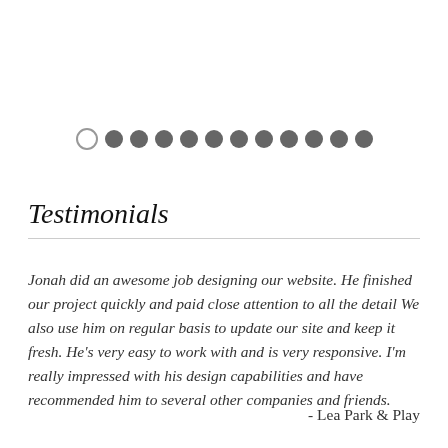[Figure (other): A row of pagination dots: one empty circle followed by eleven filled grey circles]
Testimonials
Jonah did an awesome job designing our website. He finished our project quickly and paid close attention to all the detail We also use him on regular basis to update our site and keep it fresh. He's very easy to work with and is very responsive. I'm really impressed with his design capabilities and have recommended him to several other companies and friends.
- Lea Park & Play